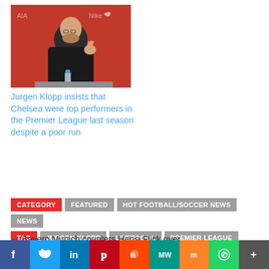[Figure (photo): Jurgen Klopp at a press conference in front of a red Liverpool FC backdrop, gesturing with his hand, with a water bottle on the table.]
Jurgen Klopp insists that Chelsea were top performers in the Premier League last season despite a poor run
CATEGORY  FEATURED  HOT FOOTBALL/SOCCER NEWS  NEWS
TAG  JURGEN KLOPP  LIVERPOOL  PREMIER LEAGUE
← Bayern Munich counters Hansi Flick over his decision to leave the club
Mikel Arteta of Arsenal and Scott
[Figure (infographic): Social media sharing bar with icons: Facebook, Twitter, LinkedIn, Pinterest, Reddit, MW, Mix, WhatsApp, More (+)]